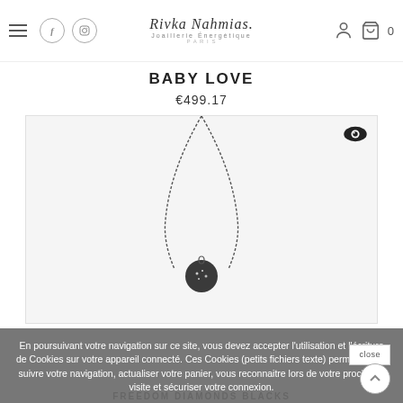Rivka Nahmias. Joaillerie Énergétique PARIS — navigation icons: hamburger, Facebook, Instagram, user account, cart (0)
BABY LOVE
€499.17
[Figure (photo): A delicate dark/blackened chain necklace with a small round pendant, displayed on a light gray background. Eye/preview icon in top right of image frame.]
En poursuivant votre navigation sur ce site, vous devez accepter l'utilisation et l'écriture de Cookies sur votre appareil connecté. Ces Cookies (petits fichiers texte) permettent de suivre votre navigation, actualiser votre panier, vous reconnaitre lors de votre prochaine visite et sécuriser votre connexion.
FREEDOM DIAMONDS BLACKS